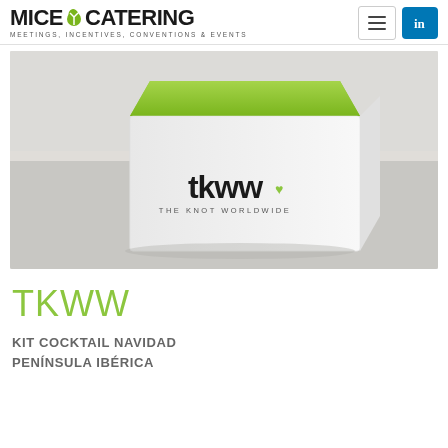MICE CATERING — MEETINGS, INCENTIVES, CONVENTIONS & EVENTS
[Figure (photo): A white rectangular box with a bright green lid branded with 'tkww THE KNOT WORLDWIDE' logo on the front, placed on a grey surface with a white brick wall in the background.]
TKWW
KIT COCKTAIL NAVIDAD PENÍNSULA IBÉRICA